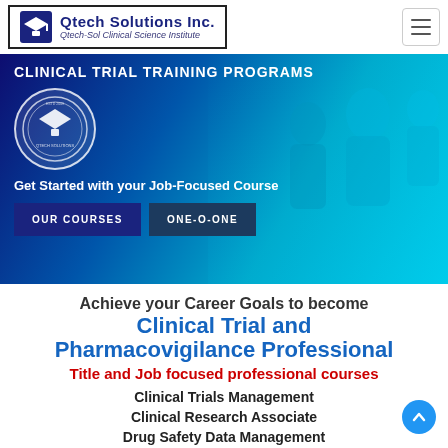[Figure (logo): Qtech Solutions Inc. logo with graduation cap icon and text 'Qtech-Sol Clinical Science Institute']
[Figure (photo): Hero banner with cyan/blue tinted photo of students studying, Qtech Solutions circular badge logo, headline 'CLINICAL TRIAL TRAINING PROGRAMS', tagline 'Get Started with your Job-Focused Course', and two buttons 'OUR COURSES' and 'ONE-O-ONE']
Achieve your Career Goals to become
Clinical Trial and Pharmacovigilance Professional
Title and Job focused professional courses
Clinical Trials Management
Clinical Research Associate
Drug Safety Data Management